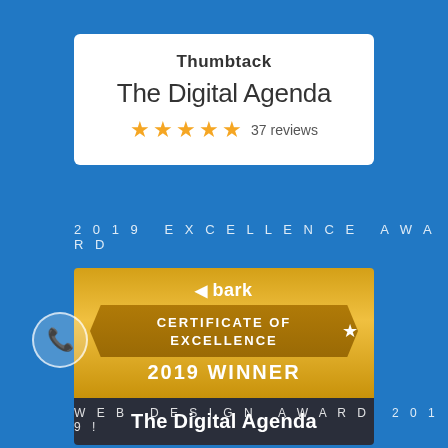[Figure (screenshot): Thumbtack profile card for The Digital Agenda showing 5 stars and 37 reviews on a white card background]
2019 EXCELLENCE AWARD
[Figure (screenshot): Bark Certificate of Excellence 2019 Winner badge for The Digital Agenda on a gold and dark background]
WEB DESIGN AWARD 2019!